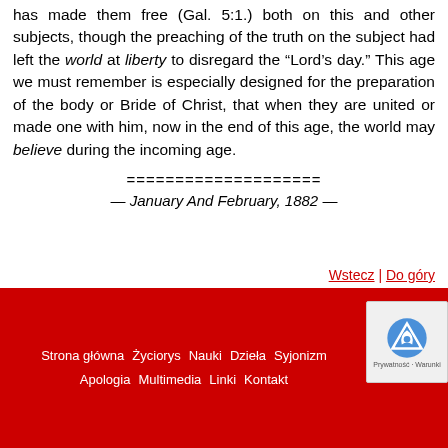has made them free (Gal. 5:1.) both on this and other subjects, though the preaching of the truth on the subject had left the world at liberty to disregard the “Lord’s day.” This age we must remember is especially designed for the preparation of the body or Bride of Christ, that when they are united or made one with him, now in the end of this age, the world may believe during the incoming age.
====================
— January And February, 1882 —
Wstecz | Do góry
Strona główna  Życiorys  Nauki  Dzieła  Syjonizm  Apologia  Multimedia  Linki  Kontakt